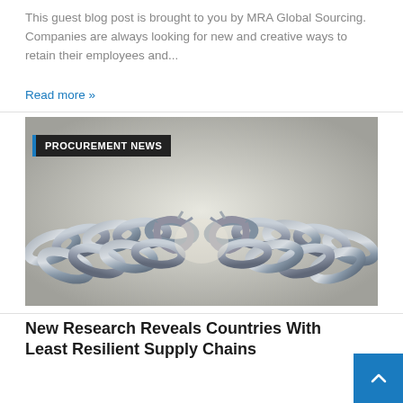This guest blog post is brought to you by MRA Global Sourcing. Companies are always looking for new and creative ways to retain their employees and...
Read more »
[Figure (photo): A broken metal chain split apart in the center, set against a light grey background. The image illustrates supply chain resilience or vulnerability.]
PROCUREMENT NEWS
New Research Reveals Countries With Least Resilient Supply Chains